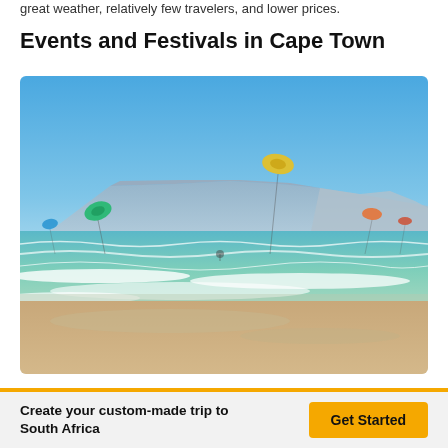great weather, relatively few travelers, and lower prices.
Events and Festivals in Cape Town
[Figure (photo): Beach scene with kite surfers in the air, ocean waves, and Table Mountain visible in the background under a clear blue sky. Sandy beach in the foreground with turquoise-green water and white surf.]
Create your custom-made trip to South Africa
Get Started